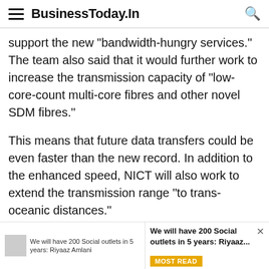BusinessToday.In
support the new "bandwidth-hungry services." The team also said that it would further work to increase the transmission capacity of "low-core-count multi-core fibres and other novel SDM fibres."
This means that future data transfers could be even faster than the new record. In addition to the enhanced speed, NICT will also work to extend the transmission range "to trans-oceanic distances."
Also read: | India ranks 70th worldwide in fixed
We will have 200 Social outlets in 5 years: Riyaaz Amlani
We will have 200 Social outlets in 5 years: Riyaaz...
MOST READ